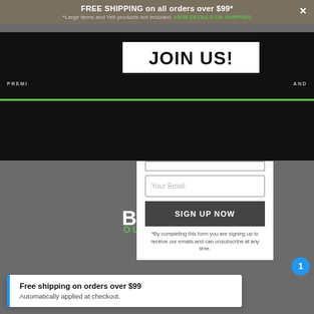FREE SHIPPING on all orders over $99*
*Large items and Yeti products not included. VIEW DETAILS ON SHIPPING
JOIN US!
Your Email
SIGN UP NOW
*By completing this form you are signing up to receive our emails and can unsubscribe at any time.
Free shipping on orders over $99
Automatically applied at checkout.